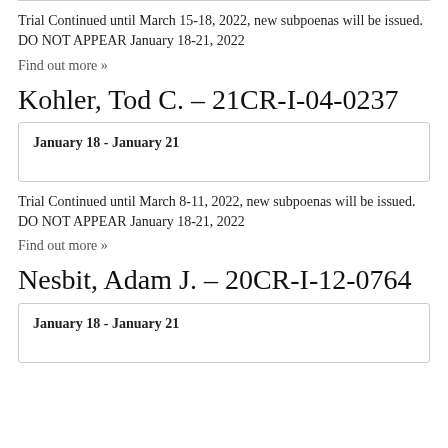Trial Continued until March 15-18, 2022, new subpoenas will be issued. DO NOT APPEAR January 18-21, 2022
Find out more »
Kohler, Tod C. – 21CR-I-04-0237
| January 18 - January 21 |
Trial Continued until March 8-11, 2022, new subpoenas will be issued. DO NOT APPEAR January 18-21, 2022
Find out more »
Nesbit, Adam J. – 20CR-I-12-0764
| January 18 - January 21 |